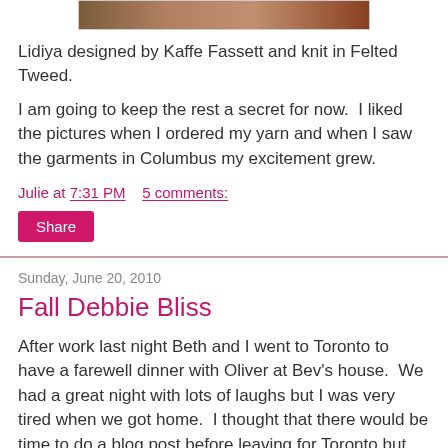[Figure (photo): Partial photo of a knitted garment]
Lidiya designed by Kaffe Fassett and knit in Felted Tweed.
I am going to keep the rest a secret for now.  I liked the pictures when I ordered my yarn and when I saw the garments in Columbus my excitement grew.
Julie at 7:31 PM    5 comments:
Share
Sunday, June 20, 2010
Fall Debbie Bliss
After work last night Beth and I went to Toronto to have a farewell dinner with Oliver at Bev's house.  We had a great night with lots of laughs but I was very tired when we got home.  I thought that there would be time to do a blog post before leaving for Toronto but we had to rush.  There 403 going east was closed so we had to come up with a new route.  We ended up taking the Linc to the Red Hill Creek